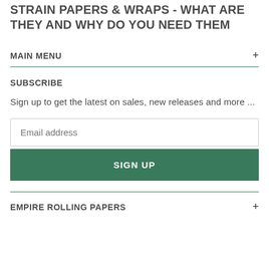STRAIN PAPERS & WRAPS - WHAT ARE THEY AND WHY DO YOU NEED THEM
MAIN MENU
SUBSCRIBE
Sign up to get the latest on sales, new releases and more ...
EMPIRE ROLLING PAPERS